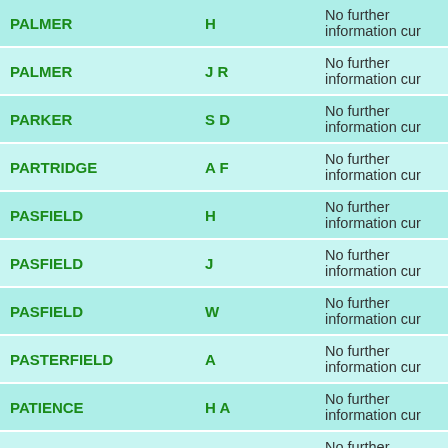| Surname | Initials | Information |
| --- | --- | --- |
| PALMER | H | No further information cur |
| PALMER | J R | No further information cur |
| PARKER | S D | No further information cur |
| PARTRIDGE | A F | No further information cur |
| PASFIELD | H | No further information cur |
| PASFIELD | J | No further information cur |
| PASFIELD | W | No further information cur |
| PASTERFIELD | A | No further information cur |
| PATIENCE | H A | No further information cur |
| PAYNE | J E | No further information cur |
| PEACOCK | G | No further information cur |
| PEAD | F | No further information cur |
| PEAD | G | No further information cur |
| PEGRUM | C W | No further information cur |
| PERRY | C W | No further information cur |
| PERRY | R H | No further information cur |